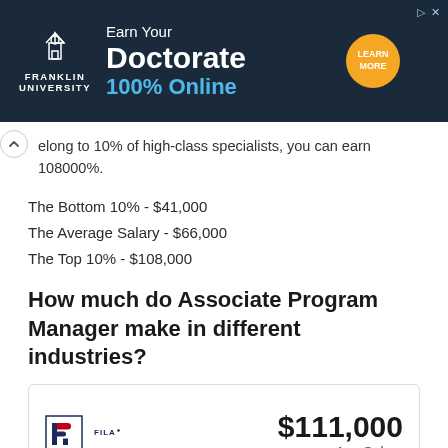[Figure (illustration): Franklin University advertisement banner: Earn Your Doctorate 100% Online, with Learn More button]
elong to 10% of high-class specialists, you can earn 108000%.
The Bottom 10% - $41,000
The Average Salary - $66,000
The Top 10% - $108,000
How much do Associate Program Manager make in different industries?
[Figure (logo): FILA logo with $111,000 Avg.Salary]